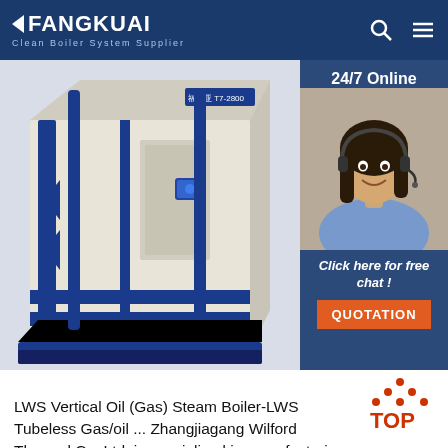FANGKUAI — Clean Boiler System Supplier
[Figure (photo): Large industrial LWS vertical oil/gas steam boiler unit, white and dark blue colored, with blue stripe accents and a small control panel display on front, shown in a 3/4 perspective view against a light background.]
[Figure (photo): Customer service agent, a smiling woman with dark hair wearing a headset and blue blouse, with '24/7 Online' label above and 'Click here for free chat!' and QUOTATION button below, on dark blue background panel.]
LWS Vertical Oil (Gas) Steam Boiler-LWS Tubeless Gas/oil ... Zhangjiagang Wilford Thermal Co.,Ltd. is specialized in manufacturing the medium and small sized boilers with high quality, and the right to know, efficient, or other customers for